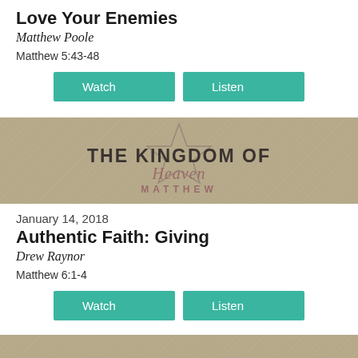Love Your Enemies
Matthew Poole
Matthew 5:43-48
[Figure (screenshot): The Kingdom of Heaven - Matthew banner image on kraft paper background]
January 14, 2018
Authentic Faith: Giving
Drew Raynor
Matthew 6:1-4
[Figure (screenshot): The Kingdom of Heaven - Matthew banner image on kraft paper background (bottom, partially visible)]